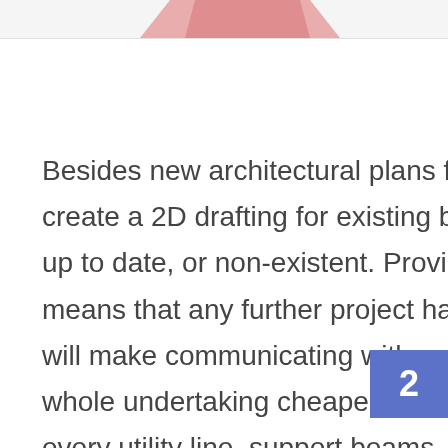[Figure (illustration): Partial view of a pink 3D architectural or building model shape at the top of the page]
Besides new architectural plans for new buildings, we also provide create a 2D drafting for existing building whose existent plan is not up to date, or non-existent. Providing a plan for older buildings means that any further project has a solid ground to start from, and will make communicating with contractor much easier and the whole undertaking cheaper. This is achieved through designating every utility line, support beams, structural wall with pin point
2